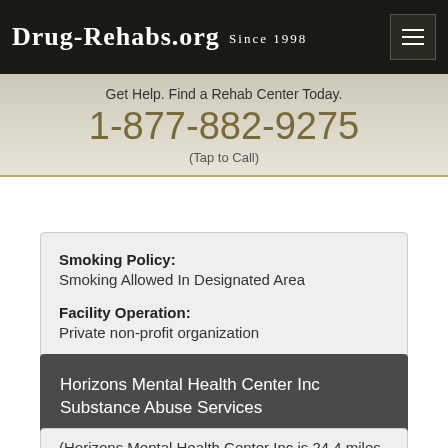Drug-Rehabs.org Since 1998
Get Help. Find a Rehab Center Today. 1-877-882-9275 (Tap to Call)
Smoking Policy: Smoking Allowed In Designated Area
Facility Operation: Private non-profit organization
Horizons Mental Health Center Inc Substance Abuse Services
(Horizons Mental Health Center Inc is 24.4 miles